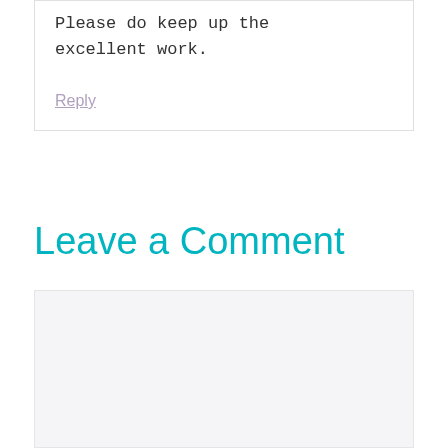Please do keep up the excellent work.
Reply
Leave a Comment
[Figure (other): Comment form input area with light gray background]